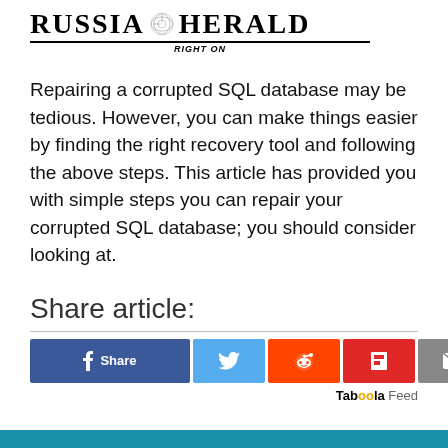[Figure (logo): Russia Herald logo with emblem, tagline 'Right On', and horizontal rules]
Repairing a corrupted SQL database may be tedious. However, you can make things easier by finding the right recovery tool and following the above steps. This article has provided you with simple steps you can repair your corrupted SQL database; you should consider looking at.
Share article:
[Figure (infographic): Social share buttons: Facebook Share, Twitter, Reddit, Flipboard, Email]
Taboola Feed